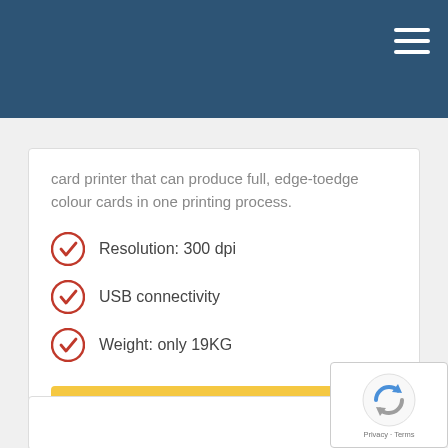card printer that can produce full, edge-toedge colour cards in one printing process.
Resolution: 300 dpi
USB connectivity
Weight: only 19KG
Request Quote